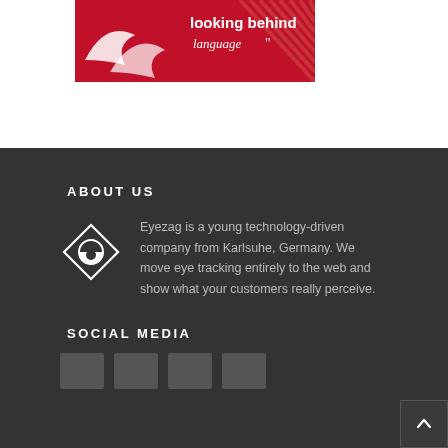[Figure (logo): Red banner with white swirl/wave logo on left and italic text 'looking behind language' with closing quotation marks on right, on a crimson background]
ABOUT US
[Figure (logo): Diamond/rhombus shaped icon with an eye symbol inside, white outline on dark background]
Eyezag is a young technology-driven company from Karlsuhe, Germany. We move eye tracking entirely to the web and show what your customers really perceive.
SOCIAL MEDIA